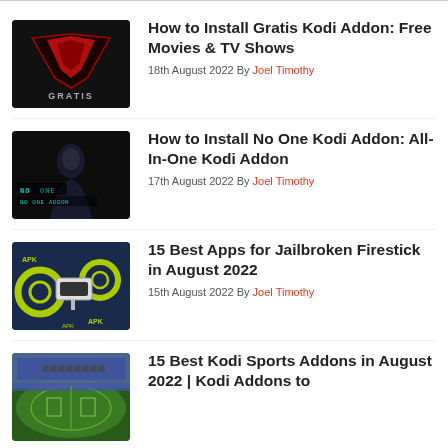[Figure (illustration): Gratis Kodi Addon thumbnail - dark background with red X/V logo and GRATIS text]
How to Install Gratis Kodi Addon: Free Movies & TV Shows
18th August 2022 By Joel Timothy
[Figure (illustration): No One Kodi Addon thumbnail - dark background with hooded figure, NO ONE text overlay]
How to Install No One Kodi Addon: All-In-One Kodi Addon
17th August 2022 By Joel Timothy
[Figure (illustration): Jailbroken Firestick apps thumbnail - dark blue background with green gear icons and Firestick device, APK text]
15 Best Apps for Jailbroken Firestick in August 2022
15th August 2022 By Joel Timothy
[Figure (photo): Sports stadium thumbnail - soccer match at stadium with crowd]
15 Best Kodi Sports Addons in August 2022 | Kodi Addons to